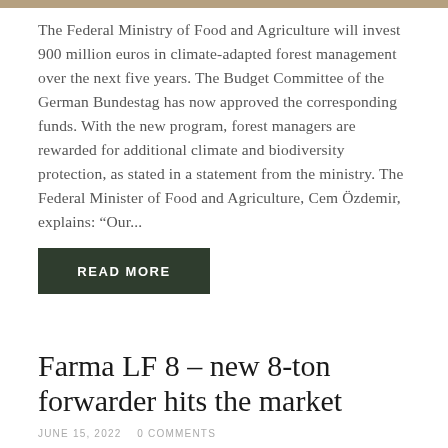[Figure (photo): Top image strip showing partial view of a scene related to forestry or agriculture]
The Federal Ministry of Food and Agriculture will invest 900 million euros in climate-adapted forest management over the next five years. The Budget Committee of the German Bundestag has now approved the corresponding funds. With the new program, forest managers are rewarded for additional climate and biodiversity protection, as stated in a statement from the ministry. The Federal Minister of Food and Agriculture, Cem Özdemir, explains: “Our...
READ MORE
Farma LF 8 – new 8-ton forwarder hits the market
JUNE 15, 2022   0 COMMENTS